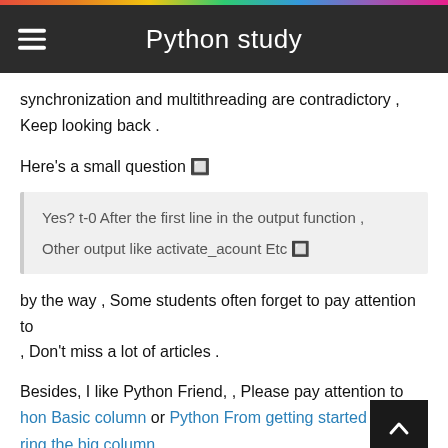Python study
synchronization and multithreading are contradictory , Keep looking back .
Here's a small question 🔲
Yes? t-0 After the first line in the output function , Other output like activate_acount Etc 🔲
by the way , Some students often forget to pay attention to , Don't miss a lot of articles .
Besides, I like Python Friend, , Please pay attention to hon Basic column or Python From getting started to mastering the big column